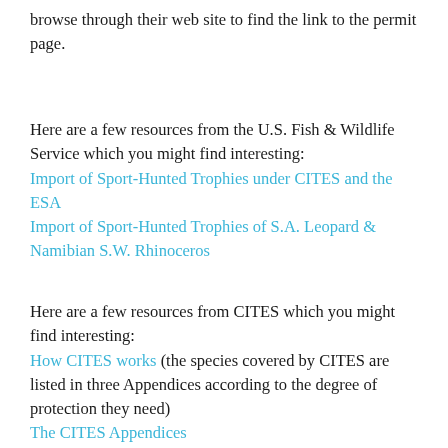browse through their web site to find the link to the permit page.
Here are a few resources from the U.S. Fish & Wildlife Service which you might find interesting:
Import of Sport-Hunted Trophies under CITES and the ESA
Import of Sport-Hunted Trophies of S.A. Leopard & Namibian S.W. Rhinoceros
Here are a few resources from CITES which you might find interesting:
How CITES works (the species covered by CITES are listed in three Appendices according to the degree of protection they need)
The CITES Appendices
Appendices I, II & III...